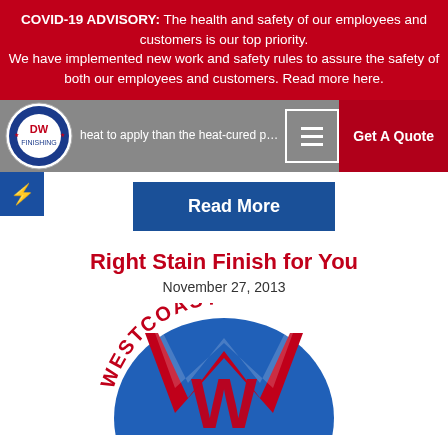COVID-19 ADVISORY: The health and safety of our employees and customers is our top priority. We have implemented new work and safety rules to assure the safety of both our employees and customers. Read more here.
heat to apply than the heat-cured powder coatings
[Figure (logo): DW circular logo with red/blue colors]
Get A Quote
Read More
Right Stain Finish for You
November 27, 2013
[Figure (logo): West Coast logo with large W, blue circle, red and white text reading WESTCOAST]